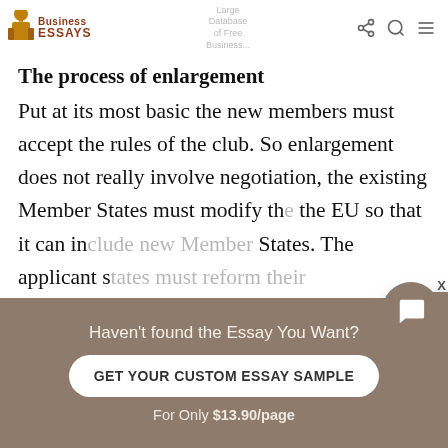The process of enlargement | Large Database of Free Business Essays
Put at its most basic the new members must accept the rules of the club. So enlargement does not really involve negotiation, the existing Member States must modify the EU so that it can include new Member States. The applicant states must reform their administrations and judicial systems so that they are able comply with all of the EU law. The negotiations are about the transitional arrangements, derogations and technical details of exactly how EU law will apply e.g. the size of agricultural quotas. It
[Figure (screenshot): Chat popup with avatar of woman named Dana saying: Would you like to get such a paper? How about receiving a customized one? Check it out]
Haven't found the Essay You Want?
GET YOUR CUSTOM ESSAY SAMPLE
For Only $13.90/page